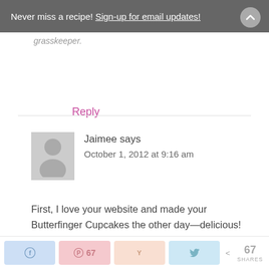Never miss a recipe! Sign-up for email updates!
grasskeeper.
Reply
Jaimee says
October 1, 2012 at 9:16 am
First, I love your website and made your Butterfinger Cupcakes the other day—delicious! Second, my friend just had a baby girl and I am so excited to make these for her this week! But I do have one question: what is
67 SHARES